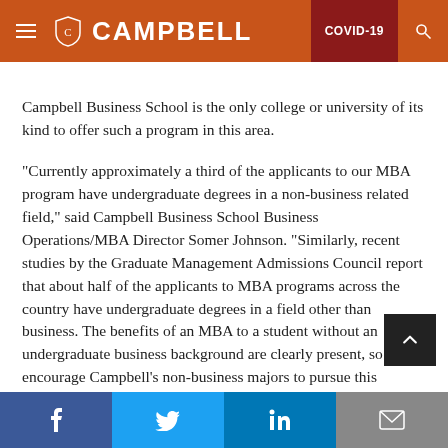CAMPBELL | COVID-19
Campbell Business School is the only college or university of its kind to offer such a program in this area.
“Currently approximately a third of the applicants to our MBA program have undergraduate degrees in a non-business related field,” said Campbell Business School Business Operations/MBA Director Somer Johnson. “Similarly, recent studies by the Graduate Management Admissions Council report that about half of the applicants to MBA programs across the country have undergraduate degrees in a field other than business. The benefits of an MBA to a student without an undergraduate business background are clearly present, so we encourage Campbell’s non-business majors to pursue this opportunity.”
Facebook | Twitter | LinkedIn | Email